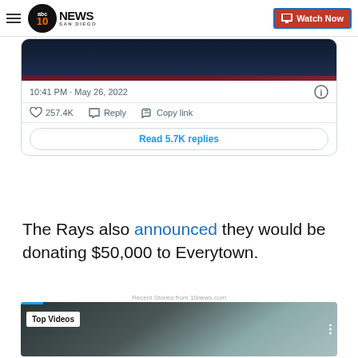10 News San Diego | Watch Now
[Figure (screenshot): Tweet embed card showing a dark image (partial tweet), timestamp 10:41 PM · May 26, 2022, likes 257.4K, Reply, Copy link actions, and Read 5.7K replies button]
The Rays also announced they would be donating $50,000 to Everytown.
Recent Stories from 10news.com
[Figure (screenshot): Top Videos thumbnail showing a black and white video still with 'Top Videos' badge overlay]